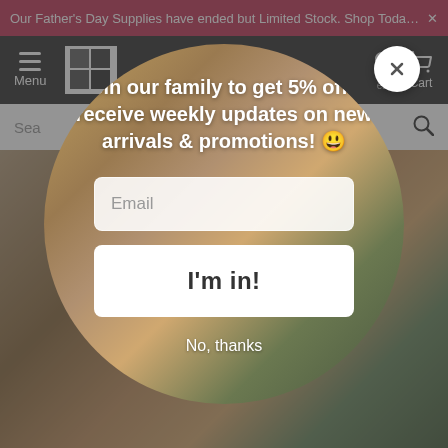Our Father's Day Supplies have ended but Limited Stock. Shop Today so
[Figure (screenshot): E-commerce website navigation bar with hamburger menu, logo, location icon, and cart icon on dark background]
[Figure (screenshot): Search bar with search icon on white background]
[Figure (photo): Background photo of home decor items including ceramics, plates, wicker furniture, and decorative objects]
[Figure (screenshot): Modal popup overlay with circular shape containing email signup form. Close button (X) in top right. Headline: Join our family to get 5% off & receive weekly updates on new arrivals & promotions! Email input field. I'm in! button. No, thanks link.]
Join our family to get 5% off & receive weekly updates on new arrivals & promotions! 🙂
Email
I'm in!
No, thanks